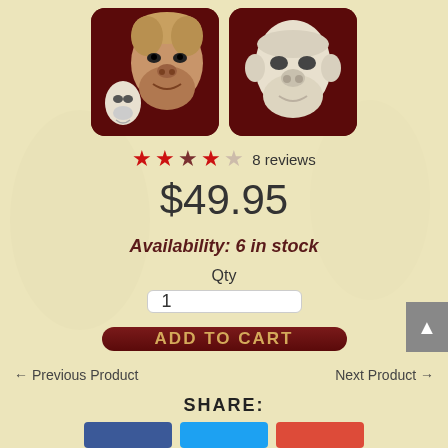[Figure (photo): Two product images of ape/primate Halloween masks on dark red rounded square backgrounds. Left image shows a realistic ape face with a smaller white ape mask. Right image shows a white/cream colored ape face mask.]
8 reviews
$49.95
Availability: 6 in stock
Qty
1
ADD TO CART
← Previous Product
Next Product →
SHARE: